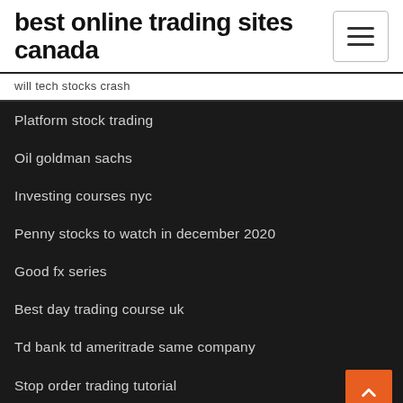best online trading sites canada
will tech stocks crash
Platform stock trading
Oil goldman sachs
Investing courses nyc
Penny stocks to watch in december 2020
Good fx series
Best day trading course uk
Td bank td ameritrade same company
Stop order trading tutorial
Ofx file to pdf converter
Gold coin price in iran today